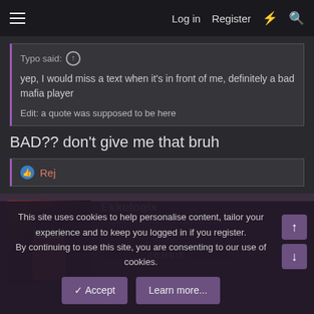Log in  Register
Typo said: ↑
yep, I would miss a text when it's in front of me, definitely a bad mafia player
Edit: a quote was supposed to be here
BAD?? don't give me that bruh
👍 Rej
Ekkologix
ZOMBIE
This site uses cookies to help personalise content, tailor your experience and to keep you logged in if you register.
By continuing to use this site, you are consenting to our use of cookies.